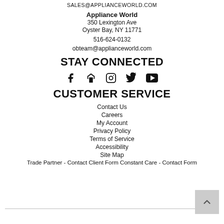SALES@APPLIANCEWORLD.COM
Appliance World
350 Lexington Ave
Oyster Bay, NY 11771
516-624-0132
obteam@applianceworld.com
STAY CONNECTED
[Figure (infographic): Social media icons: Facebook, Houzz, Instagram, Twitter, YouTube]
CUSTOMER SERVICE
Contact Us
Careers
My Account
Privacy Policy
Terms of Service
Accessibility
Site Map
Trade Partner - Contact Client Form Constant Care - Contact Form